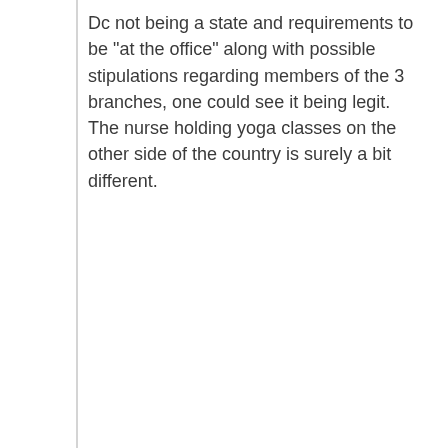Dc not being a state and requirements to be "at the office" along with possible stipulations regarding members of the 3 branches, one could see it being legit. The nurse holding yoga classes on the other side of the country is surely a bit different.
philliest... 2 years ago edited
If what you say is true then most politicians have